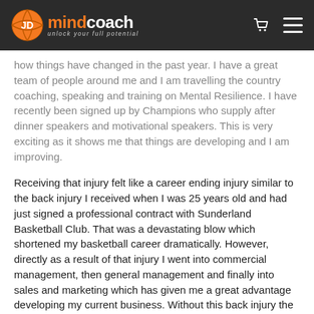JD MindCoach — unlock your full potential
how things have changed in the past year. I have a great team of people around me and I am travelling the country coaching, speaking and training on Mental Resilience. I have recently been signed up by Champions who supply after dinner speakers and motivational speakers. This is very exciting as it shows me that things are developing and I am improving.
Receiving that injury felt like a career ending injury similar to the back injury I received when I was 25 years old and had just signed a professional contract with Sunderland Basketball Club. That was a devastating blow which shortened my basketball career dramatically. However, directly as a result of that injury I went into commercial management, then general management and finally into sales and marketing which has given me a great advantage developing my current business. Without this back injury the odds are strong that I wouldn't be running this very exciting business making a positive difference to so many